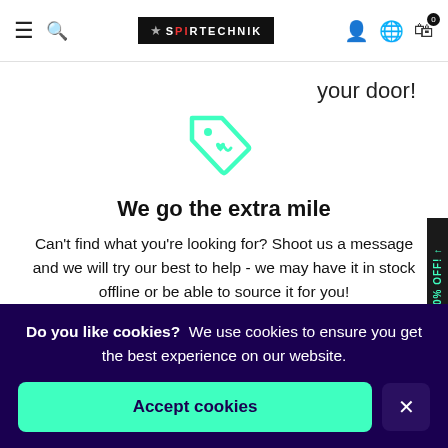SPIRTECHNIK – navigation bar with hamburger, search, logo, user, language, cart (0)
your door!
[Figure (illustration): Teal/mint outline tag icon with a heart shape inside]
We go the extra mile
Can't find what you're looking for? Shoot us a message and we will try our best to help - we may have it in stock offline or be able to source it for you!
Do you like cookies?  We use cookies to ensure you get the best experience on our website.
Accept cookies